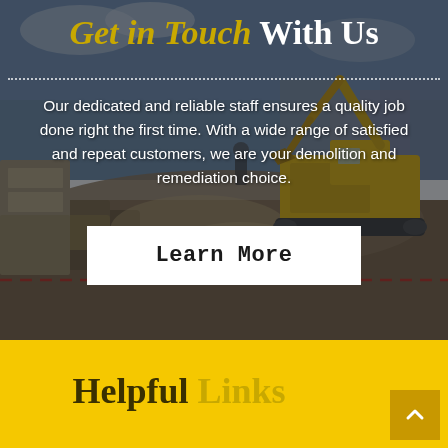[Figure (photo): Construction/demolition site with a yellow excavator and heavy machinery operating amid rubble and dust, with a blue sky in the background. Dark overlay applied over the photo.]
Get in Touch With Us
Our dedicated and reliable staff ensures a quality job done right the first time. With a wide range of satisfied and repeat customers, we are your demolition and remediation choice.
Learn More
Helpful Links